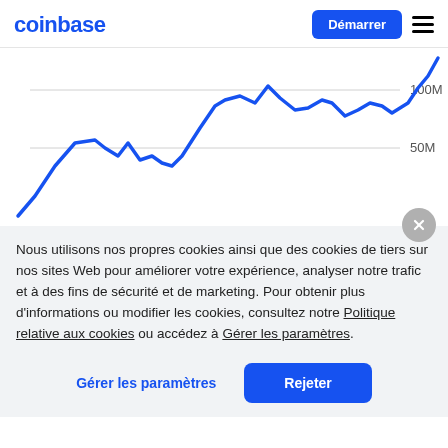[Figure (logo): Coinbase logo in blue text]
[Figure (line-chart): A blue line chart showing user growth over time, starting low around 20M, rising to peaks around 100M with fluctuations, ending sharply upward past 100M. Y-axis labels: 100M, 50M.]
Nous utilisons nos propres cookies ainsi que des cookies de tiers sur nos sites Web pour améliorer votre expérience, analyser notre trafic et à des fins de sécurité et de marketing. Pour obtenir plus d'informations ou modifier les cookies, consultez notre Politique relative aux cookies ou accédez à Gérer les paramètres.
Gérer les paramètres
Rejeter